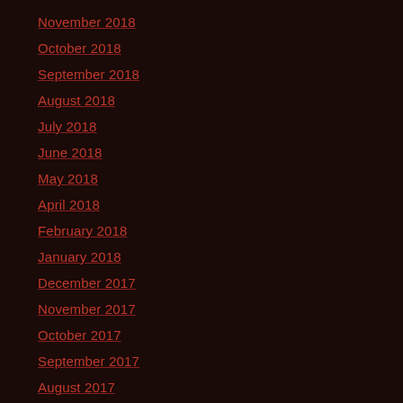November 2018
October 2018
September 2018
August 2018
July 2018
June 2018
May 2018
April 2018
February 2018
January 2018
December 2017
November 2017
October 2017
September 2017
August 2017